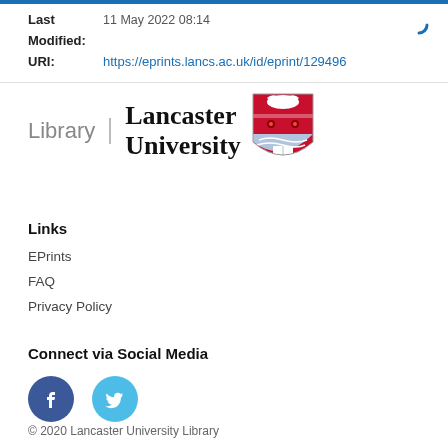Last: 11 May 2022 08:14
Modified:
URI: https://eprints.lancs.ac.uk/id/eprint/129496
[Figure (logo): Lancaster University Library logo with shield crest]
Links
EPrints
FAQ
Privacy Policy
Connect via Social Media
[Figure (illustration): Facebook and Twitter social media icons (circular buttons)]
© 2020 Lancaster University Library